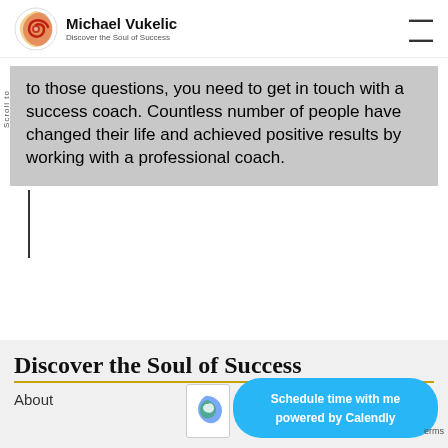Michael Vukelic — Discover the Soul of Success
to those questions, you need to get in touch with a success coach. Countless number of people have changed their life and achieved positive results by working with a professional coach.
Discover the Soul of Success
About
Schedule time with me powered by Calendly